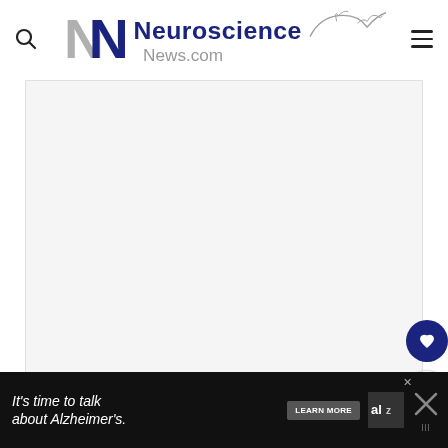Neuroscience News.com
[Figure (screenshot): Light gray placeholder image area for a news article slideshow, with three small gray dots at the bottom center indicating slide navigation]
[Figure (infographic): Advertisement banner at bottom: 'It's time to talk about Alzheimer's.' with 'LEARN MORE' button and Alzheimer's Association logo, on a black background with a close (X) button on the right]